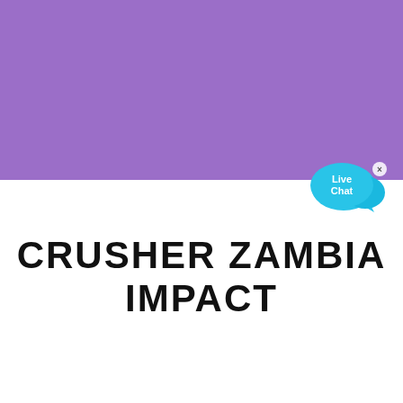[Figure (illustration): Purple rectangular banner occupying the top half of the page]
[Figure (logo): Live Chat bubble icon in cyan/blue with white text 'Live Chat' and a small x close button, positioned at the top-right of the white area]
CRUSHER ZAMBIA IMPACT